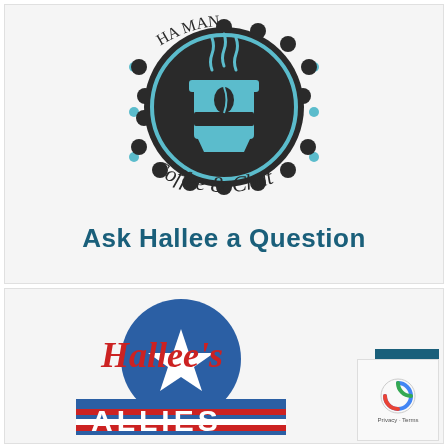[Figure (logo): Hallee's Man Coffee & Chat circular logo with teal coffee cup on dark badge, surrounded by teal dots]
Ask Hallee a Question
[Figure (logo): Hallee's Allies logo with red script text and blue star/military roundel design, red and white stripes]